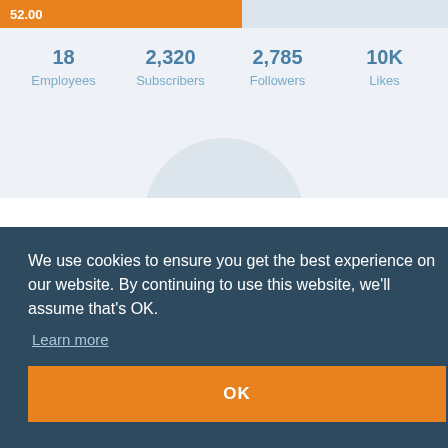[Figure (infographic): Progress bar showing 52.00 filled in orange against a light blue background]
18 Employees   2,320 Subscribers   2,785 Followers   10K Likes
We use cookies to ensure you get the best experience on our website. By continuing to use this website, we'll assume that's OK.
Learn more
OK